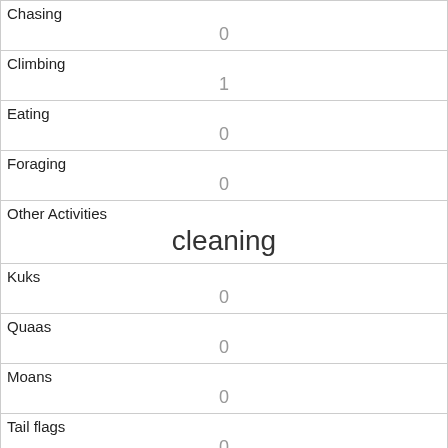| Field | Value |
| --- | --- |
| Chasing | 0 |
| Climbing | 1 |
| Eating | 0 |
| Foraging | 0 |
| Other Activities | cleaning |
| Kuks | 0 |
| Quaas | 0 |
| Moans | 0 |
| Tail flags | 0 |
| Tail twitches | 0 |